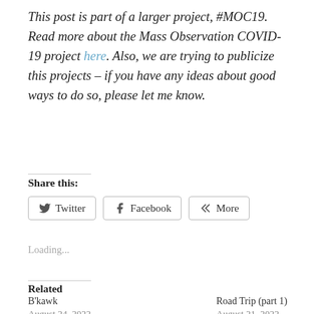This post is part of a larger project, #MOC19. Read more about the Mass Observation COVID-19 project here. Also, we are trying to publicize this projects – if you have any ideas about good ways to do so, please let me know.
Share this:
Twitter  Facebook  More
Loading...
Related
B'kawk
August 24, 2022
Road Trip (part 1)
August 21, 2022